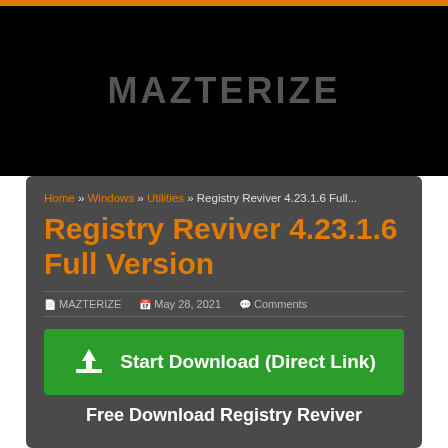MAZTERIZE
Home » Windows » Utilities » Registry Reviver 4.23.1.6 Full...
Registry Reviver 4.23.1.6 Full Version
MAZTERIZE   May 28, 2021   Comments
[Figure (other): Green download button with arrow icon and text: Start Download (Direct Link)]
Free Download Registry Reviver